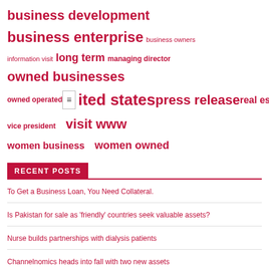[Figure (infographic): Tag cloud with pink/red colored tags of various sizes representing business-related topics: business development, business enterprise, business owners, information visit, long term, managing director, owned businesses, owned operated, press release, real estate, united states, vice president, visit www, women business, women owned]
RECENT POSTS
To Get a Business Loan, You Need Collateral.
Is Pakistan for sale as 'friendly' countries seek valuable assets?
Nurse builds partnerships with dialysis patients
Channelnomics heads into fall with two new assets
Long An Province Seeks to Foster Business Partnerships with the Republic of ...